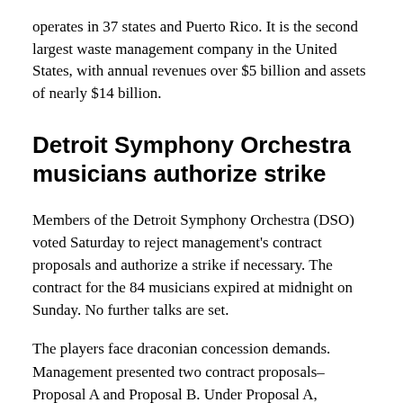operates in 37 states and Puerto Rico. It is the second largest waste management company in the United States, with annual revenues over $5 billion and assets of nearly $14 billion.
Detroit Symphony Orchestra musicians authorize strike
Members of the Detroit Symphony Orchestra (DSO) voted Saturday to reject management’s contract proposals and authorize a strike if necessary. The contract for the 84 musicians expired at midnight on Sunday. No further talks are set.
The players face draconian concession demands. Management presented two contract proposals– Proposal A and Proposal B. Under Proposal A, musicians would